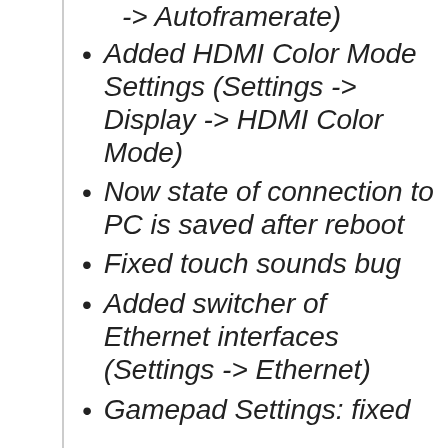-> Autoframerate)
Added HDMI Color Mode Settings (Settings -> Display -> HDMI Color Mode)
Now state of connection to PC is saved after reboot
Fixed touch sounds bug
Added switcher of Ethernet interfaces (Settings -> Ethernet)
Gamepad Settings: fixed bug